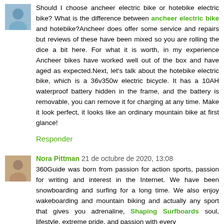[Figure (photo): Small avatar photo of a person, top-left corner]
Should I choose ancheer electric bike or hotebike electric bike? What is the difference between ancheer electric bike and hotebike?Ancheer does offer some service and repairs but reviews of these have been mixed so you are rolling the dice a bit here. For what it is worth, in my experience Ancheer bikes have worked well out of the box and have aged as expected.Next, let's talk about the hotebike electric bike, which is a 36v350w electric bicycle. It has a 10AH waterproof battery hidden in the frame, and the battery is removable, you can remove it for charging at any time. Make it look perfect, it looks like an ordinary mountain bike at first glance!
Responder
[Figure (photo): Small avatar photo of Nora Pittman]
Nora Pittman 21 de octubre de 2020, 13:08
360Guide was born from passion for action sports, passion for writing and interest in the Internet. We have been snowboarding and surfing for a long time. We also enjoy wakeboarding and mountain biking and actually any sport that gives you adrenaline, Shaping Surfboards soul, lifestyle, extreme pride, and passion with every...